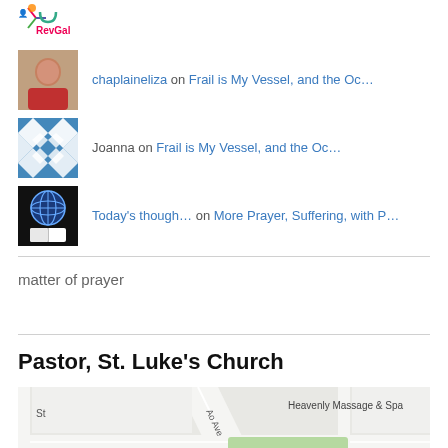[Figure (logo): RevGal logo — colorful figure with text RevGal]
chaplaineliza on Frail is My Vessel, and the Oc…
Joanna on Frail is My Vessel, and the Oc…
Today's though… on More Prayer, Suffering, with P…
matter of prayer
Pastor, St. Luke's Church
[Figure (map): Street map showing Lyons St, Heavenly Massage & Spa, National Park area]